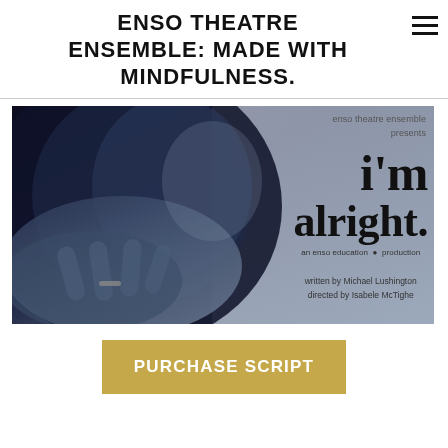ENSO THEATRE ENSEMBLE: MADE WITH MINDFULNESS.
[Figure (photo): Black and white theatrical poster for 'i'm alright.' — an enso education production. Shows a close-up of a young person's face with hands clasped near their chin. Text reads: enso theatre ensemble presents, i'm alright., an enso education production, written by Michael Lushington, directed by Isabele McTighe.]
PURCHASE SCRIPT